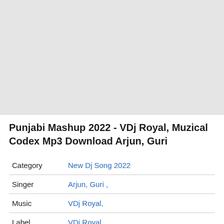[Figure (other): Gray placeholder box for media content (video/image area)]
Punjabi Mashup 2022 - VDj Royal, Muzical Codex Mp3 Download Arjun, Guri
| Category | Value |
| --- | --- |
| Category | New Dj Song 2022 |
| Singer | Arjun, Guri , |
| Music | VDj Royal, |
| Label | VDj Royal |